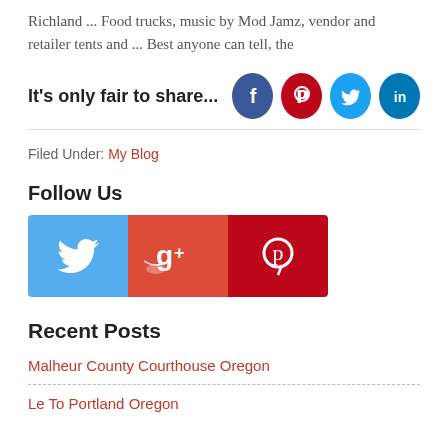Richland ... Food trucks, music by Mod Jamz, vendor and retailer tents and ... Best anyone can tell, the
It's only fair to share... [Facebook] [Pinterest] [Twitter] [LinkedIn]
Filed Under: My Blog
Follow Us
[Figure (other): Social media follow buttons: Twitter (blue), Google+ (red), Pinterest (dark red)]
Recent Posts
Malheur County Courthouse Oregon
Le To Portland Oregon